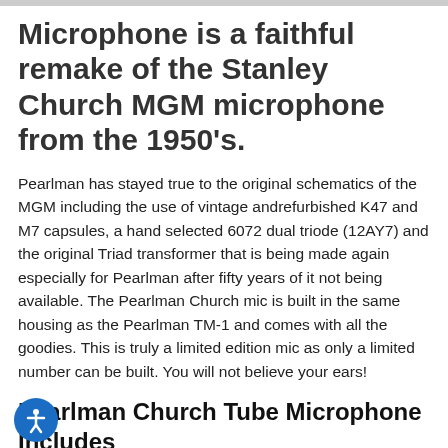Microphone is a faithful remake of the Stanley Church MGM microphone from the 1950's.
Pearlman has stayed true to the original schematics of the MGM including the use of vintage andrefurbished K47 and M7 capsules, a hand selected 6072 dual triode (12AY7) and the original Triad transformer that is being made again especially for Pearlman after fifty years of it not being available. The Pearlman Church mic is built in the same housing as the Pearlman TM-1 and comes with all the goodies. This is truly a limited edition mic as only a limited number can be built. You will not believe your ears!
Pearlman Church Tube Microphone Includes
Church Tube Microphone
Power Supply